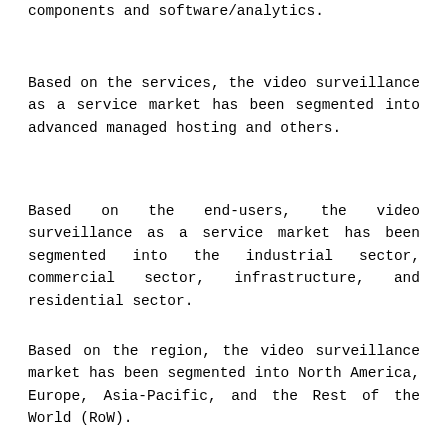components and software/analytics.
Based on the services, the video surveillance as a service market has been segmented into advanced managed hosting and others.
Based on the end-users, the video surveillance as a service market has been segmented into the industrial sector, commercial sector, infrastructure, and residential sector.
Based on the region, the video surveillance market has been segmented into North America, Europe, Asia-Pacific, and the Rest of the World (RoW).